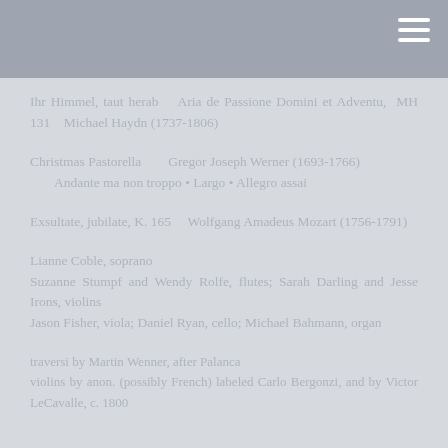Ihr Himmel, taut herab    Aria de Passione Domini et Adventu, MH 131    Michael Haydn (1737-1806)
Christmas Pastorella        Gregor Joseph Werner (1693-1766)
    Andante ma non troppo • Largo • Allegro assai
Exsultate, jubilate, K. 165      Wolfgang Amadeus Mozart (1756-1791)
Lianne Coble, soprano
Suzanne Stumpf and Wendy Rolfe, flutes; Sarah Darling and Jesse Irons, violins
Jason Fisher, viola; Daniel Ryan, cello; Michael Bahmann, organ
traversi by Martin Wenner, after Palanca
violins by anon. (possibly French) labeled Carlo Bergonzi, and by Victor LeCavalle, c. 1800